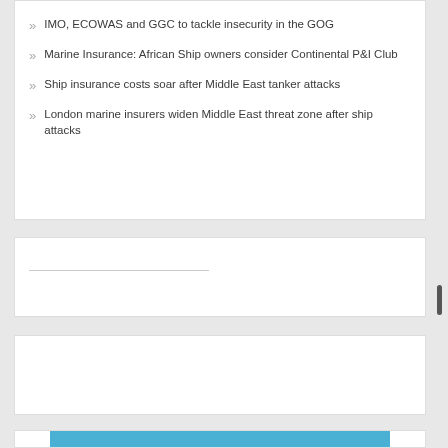IMO, ECOWAS and GGC to tackle insecurity in the GOG
Marine Insurance: African Ship owners consider Continental P&I Club
Ship insurance costs soar after Middle East tanker attacks
London marine insurers widen Middle East threat zone after ship attacks
[Figure (other): Input form panel with a horizontal line input field]
[Figure (other): Empty white panel]
[Figure (photo): Partial blue image visible at bottom of page]